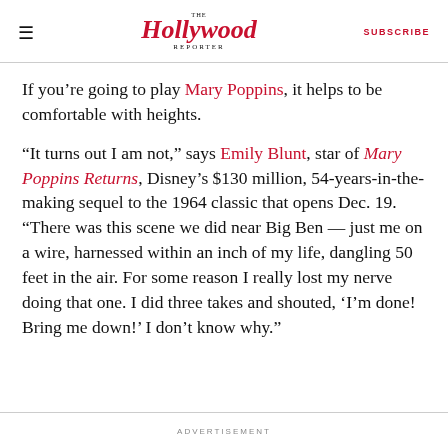The Hollywood Reporter | SUBSCRIBE
If you’re going to play Mary Poppins, it helps to be comfortable with heights.
“It turns out I am not,” says Emily Blunt, star of Mary Poppins Returns, Disney’s $130 million, 54-years-in-the-making sequel to the 1964 classic that opens Dec. 19. “There was this scene we did near Big Ben — just me on a wire, harnessed within an inch of my life, dangling 50 feet in the air. For some reason I really lost my nerve doing that one. I did three takes and shouted, ‘I’m done! Bring me down!’ I don’t know why.”
ADVERTISEMENT